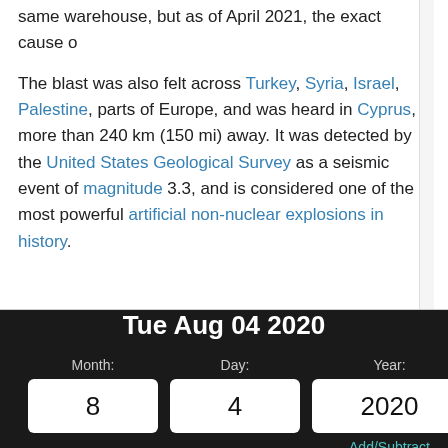same warehouse, but as of April 2021, the exact cause o...
The blast was also felt across Turkey, Syria, Israel, Palestine, parts of Europe, and was heard in Cyprus, more than 240 km (150 mi) away. It was detected by the United States Geological Survey as a seismic event of magnitude 3.3, and is considered one of the most powerful artificial non-nuclear explosions in history.
[Figure (screenshot): A date calculator widget on a dark background showing 'Tue Aug 04 2020' with input fields for Month (8), Day (4), and Year (2020), and an Add/Subtract link.]